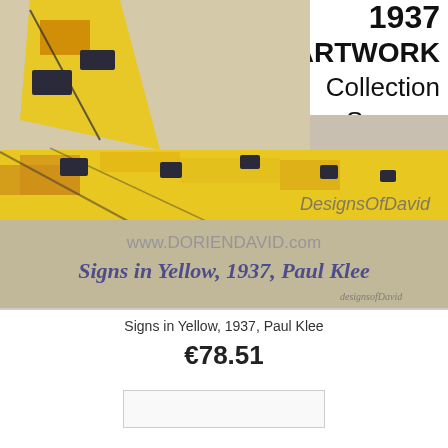[Figure (photo): Product photo of a yellow silk scarf (Signs in Yellow, 1937 by Paul Klee) draped and laid out, with watermark text 'DesignsOfDavid', 'www.DORIENDAVID.com', and 'Signs in Yellow, 1937, Paul Klee' overlaid. Top right shows text '1937 ARTWORK Collection Scarves'.]
Signs in Yellow, 1937, Paul Klee
€78.51